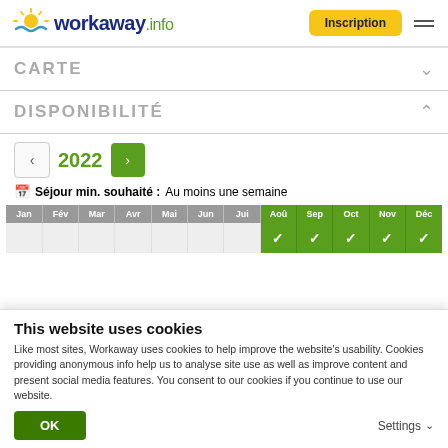workaway.info — Inscription
CARTE
DISPONIBILITÉ
2022
Séjour min. souhaité : Au moins une semaine
| Jan | Fév | Mar | Avr | Mai | Jun | Jul | Aoû | Sep | Oct | Nov | Déc |
| --- | --- | --- | --- | --- | --- | --- | --- | --- | --- | --- | --- |
|  |  |  |  |  |  |  | ✓ | ✓ | ✓ | ✓ | ✓ |
This website uses cookies
Like most sites, Workaway uses cookies to help improve the website's usability. Cookies providing anonymous info help us to analyse site use as well as improve content and present social media features.  You consent to our cookies if you continue to use our website.
OK
Settings